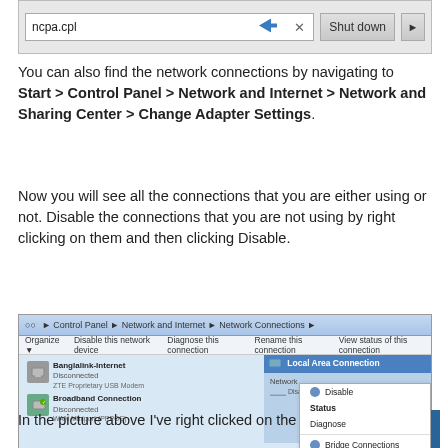[Figure (screenshot): Windows Start menu search bar showing 'ncpa.cpl' typed with a blue arrow, an X button, and a 'Shut down' button with dropdown arrow]
You can also find the network connections by navigating to Start > Control Panel > Network and Internet > Network and Sharing Center > Change Adapter Settings.
Now you will see all the connections that you are either using or not. Disable the connections that you are not using by right clicking on them and then clicking Disable.
[Figure (screenshot): Windows Network Connections window showing Banglalink-Internet (Disconnected, ZTE Proprietary USB Modem), Broadband Connection (Disconnected, WAN Miniport PPPOE), and Local Area Connection with a right-click context menu showing options: Disable, Status (bold), Diagnose, Bridge Connections, Create Shortcut, Delete (grayed), Rename, Properties]
In the picture above I've right clicked on the network tha